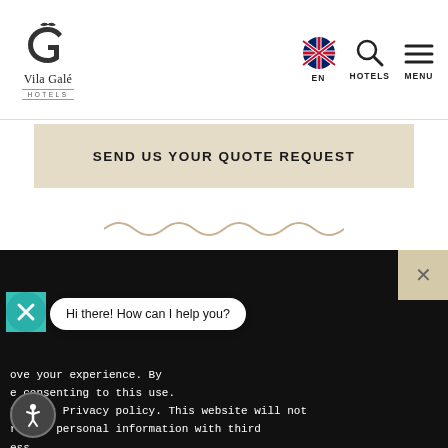Vila Galé Hotels — EN | HOTELS | MENU
SEND US YOUR QUOTE REQUEST
I WANT TO SHARE THIS PAGE
ove your experience. By e consenting to this use. See our Privacy policy. This website will not re any personal information with third ess.
Hi there! How can I help you?